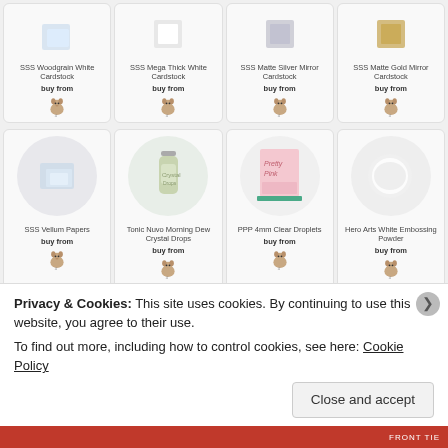[Figure (screenshot): Product grid showing craft supply items with buy buttons and store logos. Row 1 (partial top): SSS Woodgrain White Cardstock, SSS Mega Thick White Cardstock, SSS Matte Silver Mirror Cardstock, SSS Matte Gold Mirror Cardstock. Row 2: SSS Vellum Papers, Tonic Nuvo Morning Dew Crystal Drops, PPP 4mm Clear Droplets, Hero Arts White Embossing Powder. Row 3 (partial): tape/ring, blank, embossing tool product, yellow product.]
Privacy & Cookies: This site uses cookies. By continuing to use this website, you agree to their use.
To find out more, including how to control cookies, see here: Cookie Policy
Close and accept